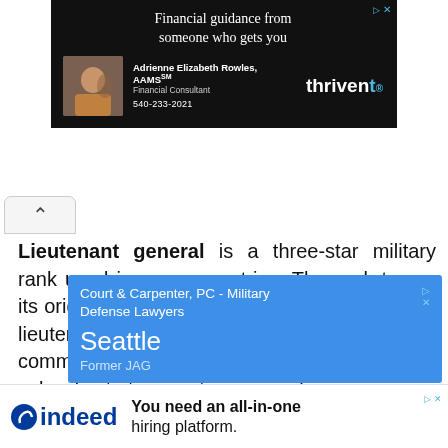[Figure (other): Thrivent financial advisor advertisement banner with dark background, showing text 'Financial guidance from someone who gets it', advisor Adrienne Elizabeth Rowles AAMS photo, and Thrivent logo]
Lieutenant general is a three-star military rank used in many countries. The rank traces its origins to the Middle Ages, where the title of lieutenant general was held by the second in command on the battlefield, who was normally subordinate to a captain general.
[Figure (other): Court & Carpenter, PC - Military Defense Lawyers advertisement showing 'Seattle' and 'Former JAG' text on blue background]
[Figure (other): Indeed hiring platform advertisement with logo and text 'You need an all-in-one hiring platform.']